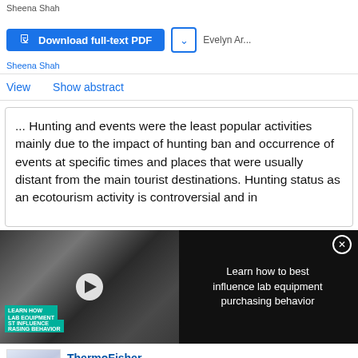Sheena Shah
[Figure (screenshot): Download full-text PDF button (blue), a dropdown chevron button, and author names including 'Evelyn Ar...']
View    Show abstract
... Hunting and events were the least popular activities mainly due to the impact of hunting ban and occurrence of events at specific times and places that were usually distant from the main tourist destinations. Hunting status as an ecotourism activity is controversial and in
[Figure (screenshot): Video advertisement overlay: thumbnail showing lab equipment with text 'LEARN HOW TO BEST INFLUENCE LAB EQUIPMENT PURCHASING BEHAVIOR' with play button, and black panel with text 'Learn how to best influence lab equipment purchasing behavior' and close (X) button]
[Figure (screenshot): Advertisement banner for Thermo Fisher Scientific with thumbnail image on the left and bold text 'Cause we are living in a bacterial world']